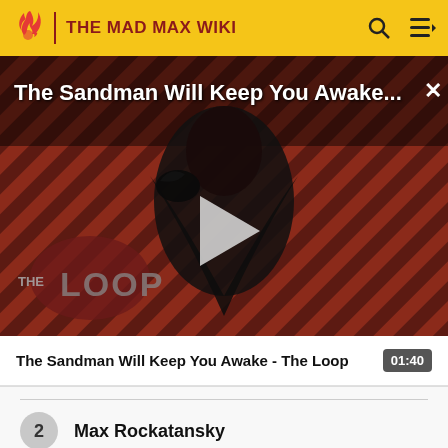THE MAD MAX WIKI
[Figure (screenshot): Video thumbnail showing a dark figure in black robes against a red and black diagonal striped background, with 'The Sandman Will Keep You Awake...' title text, a play button, and 'THE LOOP' logo overlay. Close button (X) in top right.]
The Sandman Will Keep You Awake - The Loop   01:40
2  Max Rockatansky